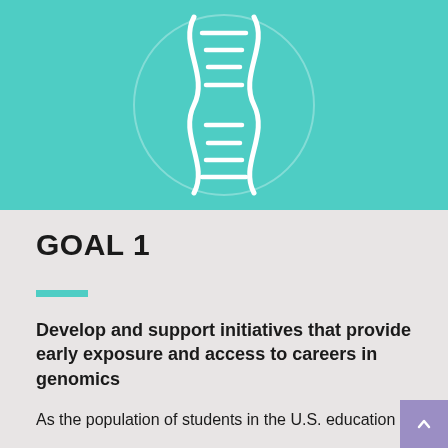[Figure (illustration): DNA double helix icon in white on a teal/turquoise background with a faint circular outline behind it]
GOAL 1
Develop and support initiatives that provide early exposure and access to careers in genomics
As the population of students in the U.S. education